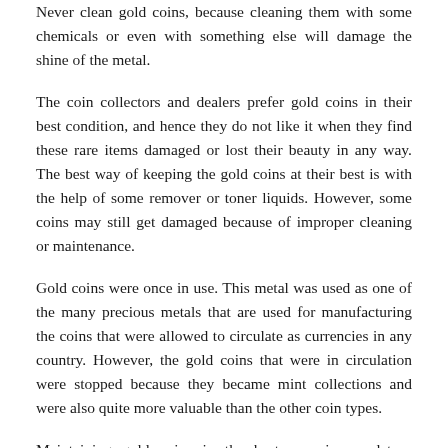Never clean gold coins, because cleaning them with some chemicals or even with something else will damage the shine of the metal.
The coin collectors and dealers prefer gold coins in their best condition, and hence they do not like it when they find these rare items damaged or lost their beauty in any way. The best way of keeping the gold coins at their best is with the help of some remover or toner liquids. However, some coins may still get damaged because of improper cleaning or maintenance.
Gold coins were once in use. This metal was used as one of the many precious metals that are used for manufacturing the coins that were allowed to circulate as currencies in any country. However, the gold coins that were in circulation were stopped because they became mint collections and were also quite more valuable than the other coin types.
Maintaining gold coins in the best way is mandatory because a buyer or a coin collector will like it when the product that they purchase is in its best condition. The initial colour of the gold coins starts from a bright yellow-orange shade. Over time, the colour may become deep orange shaded or some streaking may appear on the coin